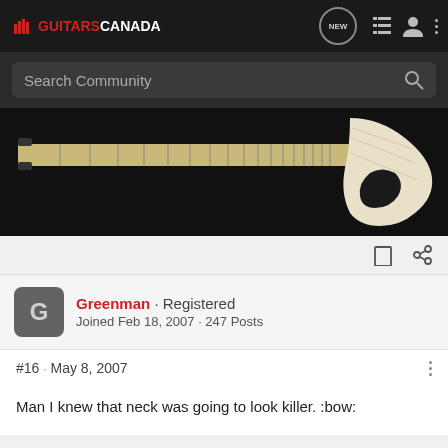GUITARSCANADA
Search Community
[Figure (photo): Guitar neck laid flat on a dark surface, showing the fretboard and headstock area, with a light/blonde wood body visible]
Greenman · Registered
Joined Feb 18, 2007 · 247 Posts
#16 · May 8, 2007
Man I knew that neck was going to look killer. :bow: